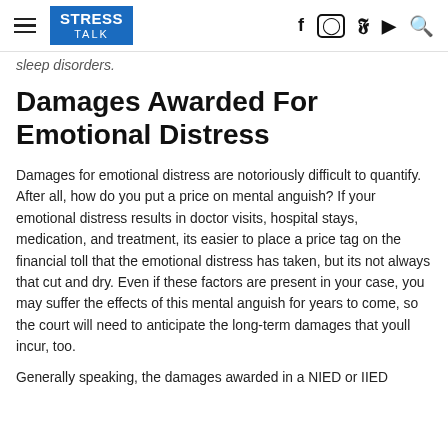STRESS TALK
sleep disorders.
Damages Awarded For Emotional Distress
Damages for emotional distress are notoriously difficult to quantify. After all, how do you put a price on mental anguish? If your emotional distress results in doctor visits, hospital stays, medication, and treatment, its easier to place a price tag on the financial toll that the emotional distress has taken, but its not always that cut and dry. Even if these factors are present in your case, you may suffer the effects of this mental anguish for years to come, so the court will need to anticipate the long-term damages that youll incur, too.
Generally speaking, the damages awarded in a NIED or IIED